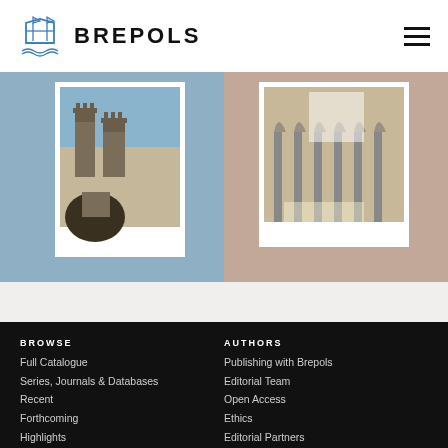[Figure (logo): Brepols Publishers logo with ship/book icon and BREPOLS text]
[Figure (photo): Two book covers displayed side by side: left one shows a medieval castle/tower painting on a blue background, right one shows a Gothic cathedral arch interior on a taupe background, both with BREPOLS watermark]
BROWSE
Full Catalogue
Series, Journals & Databases
Recent
Forthcoming
Highlights
Publicity
AUTHORS
Publishing with Brepols
Editorial Team
Open Access
Ethics
Editorial Partners